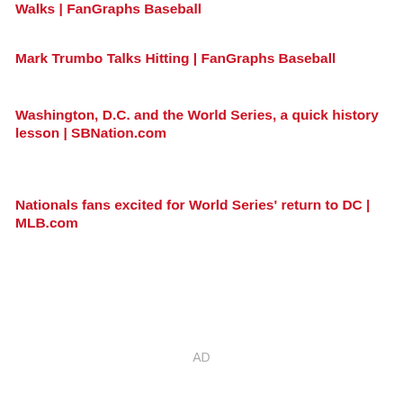Walks | FanGraphs Baseball
Mark Trumbo Talks Hitting | FanGraphs Baseball
Washington, D.C. and the World Series, a quick history lesson | SBNation.com
Nationals fans excited for World Series' return to DC | MLB.com
AD